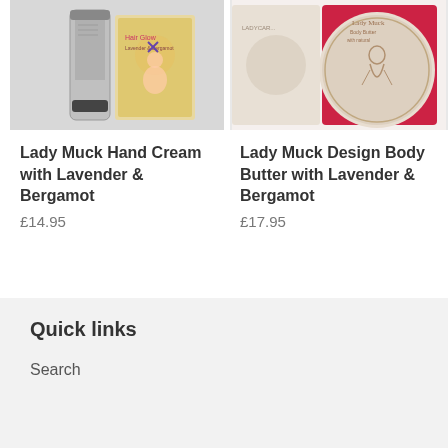[Figure (photo): Photo of Lady Muck Hand Cream with Lavender & Bergamot product - a silver tube and illustrated box]
[Figure (photo): Photo of Lady Muck Design Body Butter with Lavender & Bergamot product - a round tin in a red box]
Lady Muck Hand Cream with Lavender & Bergamot
£14.95
Lady Muck Design Body Butter with Lavender & Bergamot
£17.95
Quick links
Search